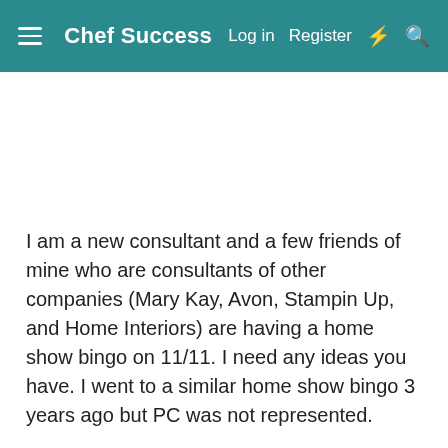Chef Success  Log in  Register
[Figure (other): Advertisement banner area (blank white space)]
I am a new consultant and a few friends of mine who are consultants of other companies (Mary Kay, Avon, Stampin Up, and Home Interiors) are having a home show bingo on 11/11. I need any ideas you have. I went to a similar home show bingo 3 years ago but PC was not represented.
We are thinking of charging $10 per ticket and having 5 games per consultant for bingo prizes and also having